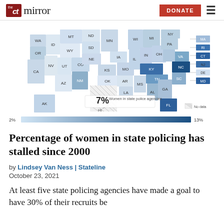the CT mirror | DONATE
[Figure (map): US choropleth map showing percentage of women in state police agencies. States shaded in varying blue intensities from light to dark. KY, NC, MD shown in darkest blue (~13%). Many states in light blue. Some states have hatching indicating no data. A color scale bar at bottom shows range from 2% to 13%. An interactive tooltip shows '7% Women in state police agencies'. Small state labels on right side: MA, RI, CT, NJ, DE, MD.]
Percentage of women in state policing has stalled since 2000
by Lindsey Van Ness | Stateline
October 23, 2021
At least five state policing agencies have made a goal to have 30% of their recruits be